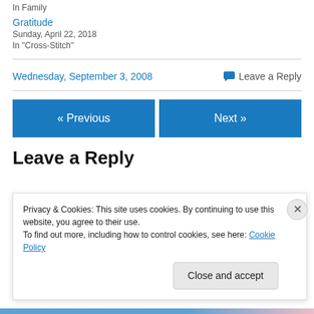In  Family
Gratitude
Sunday, April 22, 2018
In "Cross-Stitch"
Wednesday, September 3, 2008
Leave a Reply
« Previous
Next »
Leave a Reply
Privacy & Cookies: This site uses cookies. By continuing to use this website, you agree to their use.
To find out more, including how to control cookies, see here: Cookie Policy
Close and accept